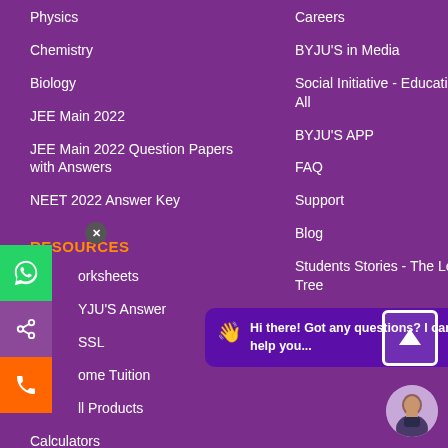Physics
Chemistry
Biology
JEE Main 2022
JEE Main 2022 Question Papers with Answers
NEET 2022 Answer Key
RESOURCES
Worksheets
BYJU'S Answer
SSL
Home Tuition
All Products
Calculators
Formulas
Careers
BYJU'S in Media
Social Initiative - Education for All
BYJU'S APP
FAQ
Support
Blog
Students Stories - The Learning Tree
Faces of BYJU'S – Life at BYJU'S
Hi there! Got any questions? I can help you...